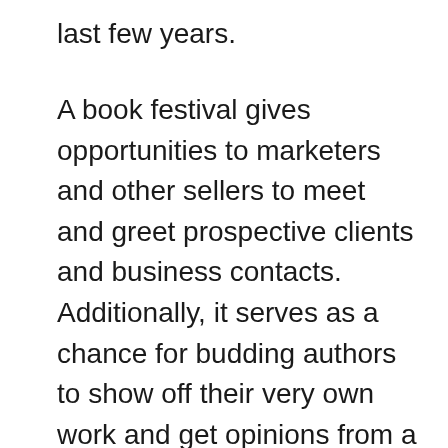last few years.
A book festival gives opportunities to marketers and other sellers to meet and greet prospective clients and business contacts. Additionally, it serves as a chance for budding authors to show off their very own work and get opinions from a wide audience. A book festival symbolizes a program for new ability to be determined and for set up authors to be showcased before a more substantial audience. The effect of publication festivals can be far-reaching; they not only showcase literacy yet also induce interest and discussion regarding books.